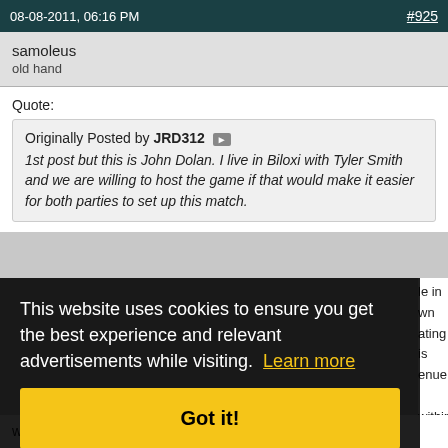08-08-2011, 06:16 PM    #925
samoleus
old hand
Quote:
Originally Posted by JRD312
1st post but this is John Dolan. I live in Biloxi with Tyler Smith and we are willing to host the game if that would make it easier for both parties to set up this match.
This website uses cookies to ensure you get the best experience and relevant advertisements while visiting.  Learn more
Got it!
waiting.